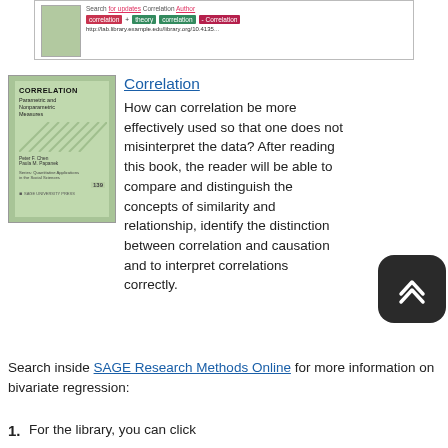[Figure (screenshot): Partial screenshot of a search result showing 'Correlation' book entry with colored keyword tags (correlation, theory, Correlation) and a DOI URL]
[Figure (illustration): Book cover: CORRELATION Parametric and Nonparametric Measures, green cover with diagonal lines, authors Peter F. Chen, Paula M. Papanek, SAGE University Press, Series: Quantitative Applications in the Social Sciences, number 139]
Correlation
How can correlation be more effectively used so that one does not misinterpret the data? After reading this book, the reader will be able to compare and distinguish the concepts of similarity and relationship, identify the distinction between correlation and causation and to interpret correlations correctly.
Search inside SAGE Research Methods Online for more information on bivariate regression:
For the library, you can click...